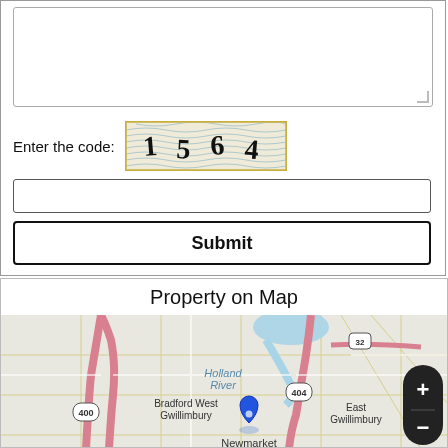[Figure (screenshot): Text area input box (empty) with resize handle in bottom-right corner]
Enter the code:
[Figure (screenshot): CAPTCHA image showing the code '1564' with wavy line background pattern]
[Figure (screenshot): Text input field for CAPTCHA code entry (empty)]
[Figure (screenshot): Submit button with bold 'Submit' text]
Property on Map
[Figure (map): Map showing Bradford West Gwillimbury, East Gwillimbury, and Newmarket area with Highway 400 and 404 marked. Holland River label visible. Blue location pin marker on Newmarket. Zoom controls (+ and -) in bottom right.]